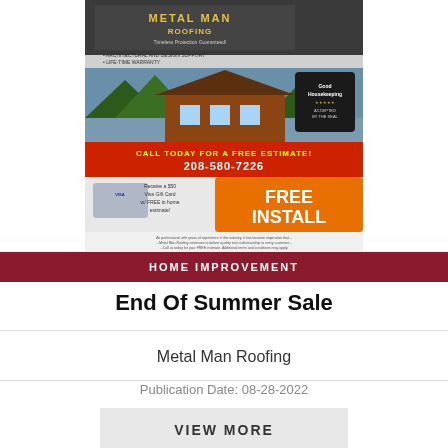[Figure (advertisement): Metal Man Roofing advertisement showing company logo, house with metal roof, 'CALL TODAY FOR A FREE ESTIMATE! 208-580-7226', 'FREE INSTALL', and Visa gift card offer]
HOME IMPROVEMENT
End Of Summer Sale
Metal Man Roofing
Publication Date: 08-28-2022
VIEW MORE